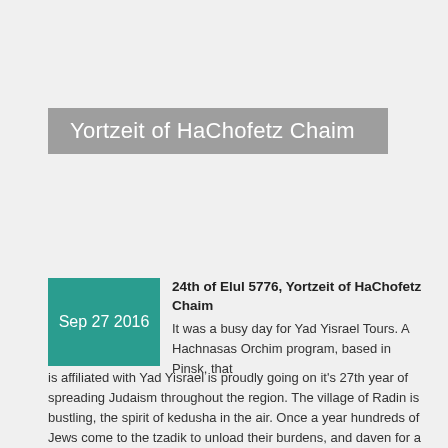Yortzeit of HaChofetz Chaim
24th of Elul 5776, Yortzeit of HaChofetz Chaim
It was a busy day for Yad Yisrael Tours. A Hachnasas Orchim program, based in Pinsk, that is affiliated with Yad Yisrael is proudly going on it's 27th year of spreading Judaism throughout the region. The village of Radin is bustling, the spirit of kedusha in the air. Once a year hundreds of Jews come to the tzadik to unload their burdens, and daven for a good year. Behind the historical building of Yeshivas Radin, the was a warm Hachnasas Orchim quarters for the privileged guests, offering hot drinks, and cakes and